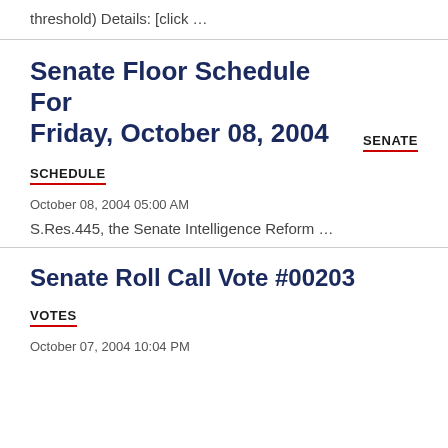threshold) Details: [click …
Senate Floor Schedule For Friday, October 08, 2004
SCHEDULE
October 08, 2004 05:00 AM
S.Res.445, the Senate Intelligence Reform …
Senate Roll Call Vote #00203
VOTES
October 07, 2004 10:04 PM